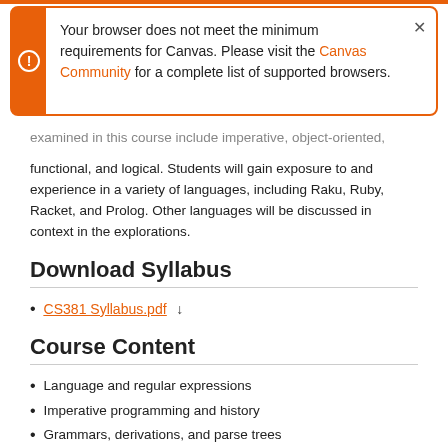Your browser does not meet the minimum requirements for Canvas. Please visit the Canvas Community for a complete list of supported browsers.
examined in this course include imperative, object-oriented, functional, and logical. Students will gain exposure to and experience in a variety of languages, including Raku, Ruby, Racket, and Prolog. Other languages will be discussed in context in the explorations.
Download Syllabus
CS381 Syllabus.pdf
Course Content
Language and regular expressions
Imperative programming and history
Grammars, derivations, and parse trees
Abstract and concrete syntax
Operational, denotational, and axiomatic semantics